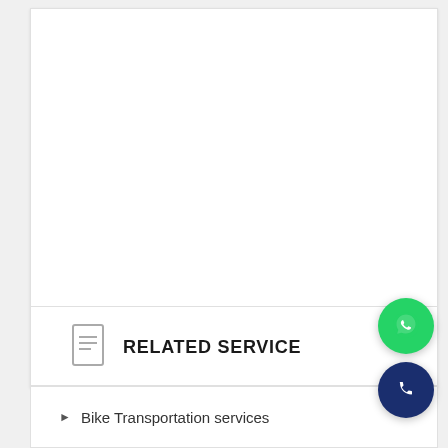RELATED SERVICE
Bike Transportation services
[Figure (illustration): WhatsApp floating action button — green circle with white WhatsApp chat bubble/phone icon]
[Figure (illustration): Phone call floating action button — dark navy blue circle with white telephone handset icon]